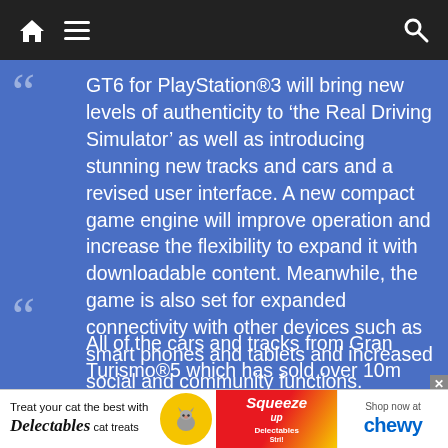Navigation bar with home, menu, and search icons
GT6 for PlayStation®3 will bring new levels of authenticity to ‘the Real Driving Simulator’ as well as introducing stunning new tracks and cars and a revised user interface. A new compact game engine will improve operation and increase the flexibility to expand it with downloadable content. Meanwhile, the game is also set for expanded connectivity with other devices such as smart phones and tablets and increased social and community functions.
All of the cars and tracks from Gran Turismo®5 which has sold over 10m
[Figure (photo): Advertisement banner: Delectables cat treats ad with cat photo, yellow heart, product images, and Chewy logo]